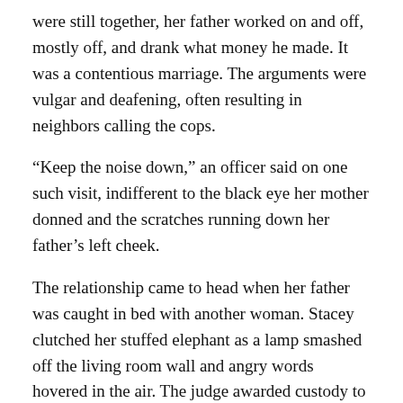were still together, her father worked on and off, mostly off, and drank what money he made. It was a contentious marriage. The arguments were vulgar and deafening, often resulting in neighbors calling the cops.
“Keep the noise down,” an officer said on one such visit, indifferent to the black eye her mother donned and the scratches running down her father’s left cheek.
The relationship came to head when her father was caught in bed with another woman. Stacey clutched her stuffed elephant as a lamp smashed off the living room wall and angry words hovered in the air. The judge awarded custody to her mother, not that it made much difference. Neither parent was capable of raising a dog much less a child.
After her parents divorced, Stacey’s mother made a habit